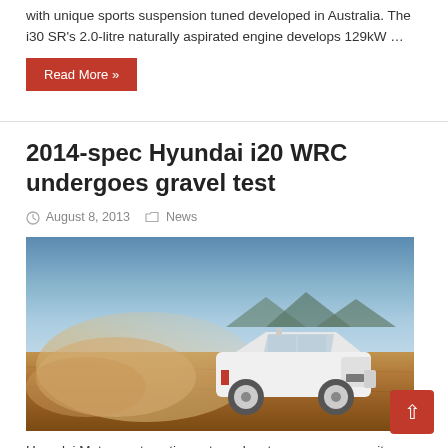with unique sports suspension tuned developed in Australia. The i30 SR's 2.0-litre naturally aspirated engine develops 129kW …
Read More »
2014-spec Hyundai i20 WRC undergoes gravel test
August 8, 2013   News
[Figure (photo): White Hyundai i20 WRC rally car kicking up dust on a gravel track, with mountains and blue sky in the background.]
Hyundai Motorsport continues to make strong progress on its WRC